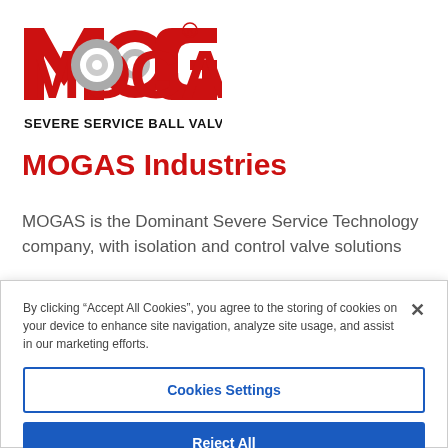[Figure (logo): MOGAS logo with red stylized letters and 'SEVERE SERVICE BALL VALVES' tagline in black bold text]
MOGAS Industries
MOGAS is the Dominant Severe Service Technology company, with isolation and control valve solutions
By clicking “Accept All Cookies”, you agree to the storing of cookies on your device to enhance site navigation, analyze site usage, and assist in our marketing efforts.
Cookies Settings
Reject All
Accept All Cookies